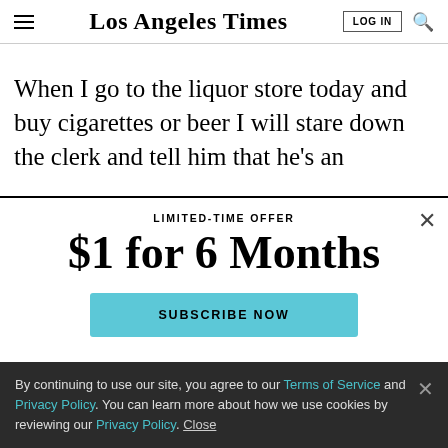Los Angeles Times
When I go to the liquor store today and buy cigarettes or beer I will stare down the clerk and tell him that he's an
LIMITED-TIME OFFER
$1 for 6 Months
SUBSCRIBE NOW
By continuing to use our site, you agree to our Terms of Service and Privacy Policy. You can learn more about how we use cookies by reviewing our Privacy Policy. Close